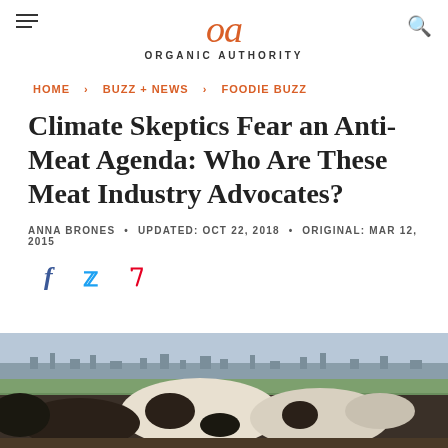oa ORGANIC AUTHORITY
HOME > BUZZ + NEWS > FOODIE BUZZ
Climate Skeptics Fear an Anti-Meat Agenda: Who Are These Meat Industry Advocates?
ANNA BRONES • UPDATED: OCT 22, 2018 • ORIGINAL: MAR 12, 2015
[Figure (other): Social sharing icons: Facebook, Twitter, Pinterest]
[Figure (photo): Close-up photograph of cows in a field with a flat landscape and city visible in the background]